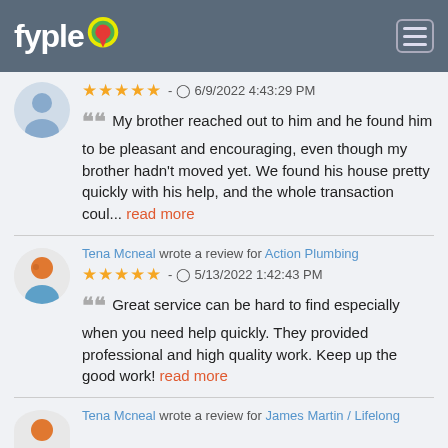fyple
★★★★★ - 6/9/2022 4:43:29 PM
My brother reached out to him and he found him to be pleasant and encouraging, even though my brother hadn't moved yet. We found his house pretty quickly with his help, and the whole transaction coul... read more
Tena Mcneal wrote a review for Action Plumbing
★★★★★ - 5/13/2022 1:42:43 PM
Great service can be hard to find especially when you need help quickly. They provided professional and high quality work. Keep up the good work! read more
Tena Mcneal wrote a review for James Martin / Lifelong